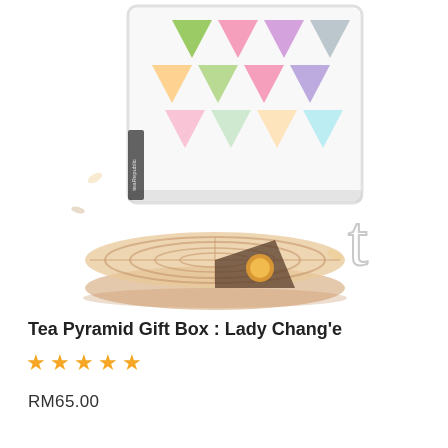[Figure (photo): Product photo showing a Tea Pyramid Gift Box (Lady Chang'e edition) — a white box containing colorful pyramid-shaped tea bags in pink, green, purple, grey, and orange, displayed at an angle from above. Below the box is an illustration of a mooncake (round, with decorative top pattern and a slice cut out revealing an egg yolk center). A stylized letter 't' watermark is overlaid on the image. Small decorative leaf/petal elements float around.]
Tea Pyramid Gift Box : Lady Chang'e
★★★★★
RM65.00